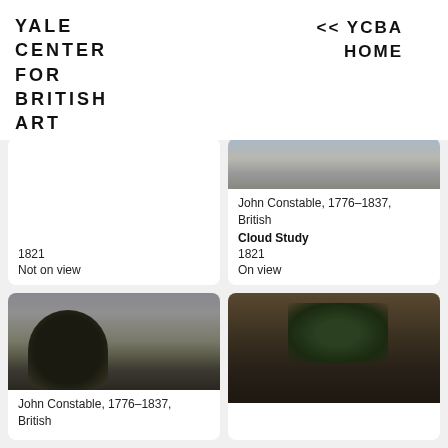YALE CENTER FOR BRITISH ART
<< YCBA HOME
1821
Not on view
[Figure (photo): Cloud study painting showing grey cloudy sky]
John Constable, 1776–1837, British
Cloud Study
1821
On view
[Figure (photo): Landscape with trees and dramatic sky, dark foliage]
John Constable, 1776–1837, British
[Figure (photo): Dark foliage and hedgerow painting]